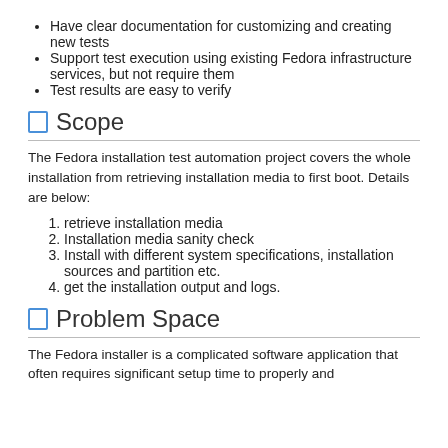Have clear documentation for customizing and creating new tests
Support test execution using existing Fedora infrastructure services, but not require them
Test results are easy to verify
Scope
The Fedora installation test automation project covers the whole installation from retrieving installation media to first boot. Details are below:
retrieve installation media
Installation media sanity check
Install with different system specifications, installation sources and partition etc.
get the installation output and logs.
Problem Space
The Fedora installer is a complicated software application that often requires significant setup time to properly and